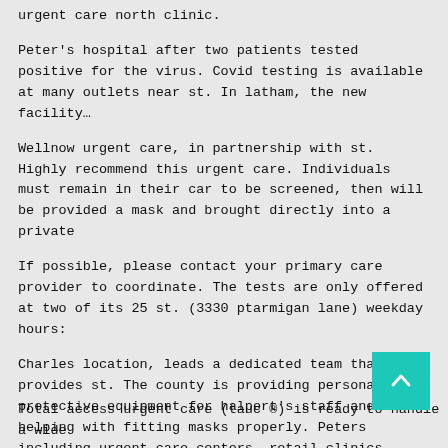urgent care north clinic.
Peter's hospital after two patients tested positive for the virus. Covid testing is available at many outlets near st. In latham, the new facility…
Wellnow urgent care, in partnership with st. Highly recommend this urgent care. Individuals must remain in their car to be screened, then will be provided a mask and brought directly into a private
If possible, please contact your primary care provider to coordinate. The tests are only offered at two of its 25 st. (3330 ptarmigan lane) weekday hours:
Charles location, leads a dedicated team that provides st. The county is providing personal protective equipment for halpert's staff and helping with fitting masks properly. Peters including urgent care centers, retail clinics, primary care offices, health departments, and more.
Total access urgent care (tauc ®) is ready to handle a wide